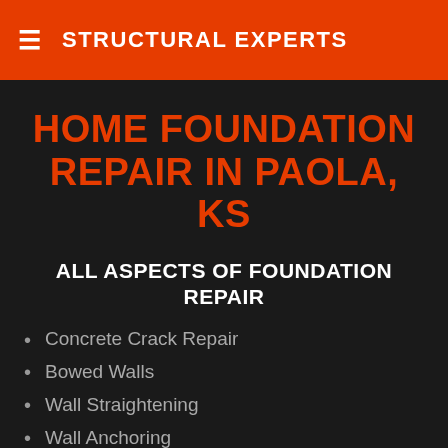≡  STRUCTURAL EXPERTS
HOME FOUNDATION REPAIR IN PAOLA, KS
ALL ASPECTS OF FOUNDATION REPAIR
Concrete Crack Repair
Bowed Walls
Wall Straightening
Wall Anchoring
Foundation Repair